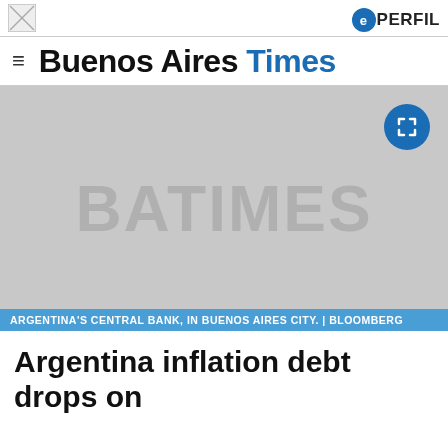[Figure (logo): Small broken image icon top left]
EPERFIL
Buenos Aires Times
[Figure (photo): Grey placeholder image with BATIMES watermark text and expand icon button. Caption: ARGENTINA'S CENTRAL BANK, IN BUENOS AIRES CITY. | BLOOMBERG]
ARGENTINA'S CENTRAL BANK, IN BUENOS AIRES CITY. | BLOOMBERG
Argentina inflation debt drops on